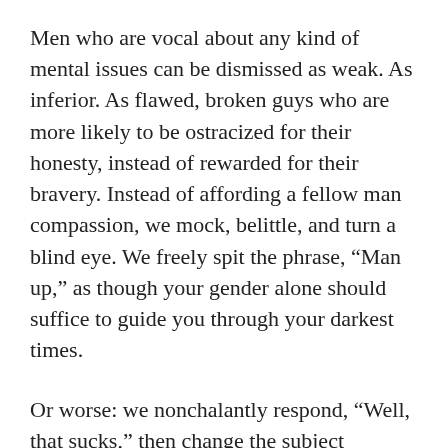Men who are vocal about any kind of mental issues can be dismissed as weak. As inferior. As flawed, broken guys who are more likely to be ostracized for their honesty, instead of rewarded for their bravery. Instead of affording a fellow man compassion, we mock, belittle, and turn a blind eye. We freely spit the phrase, “Man up,” as though your gender alone should suffice to guide you through your darkest times.
Or worse: we nonchalantly respond, “Well, that sucks,” then change the subject because talking about feelings is just too real.
What’s real is the fact that 9 percent of men experience depression on a daily basis. That’s more